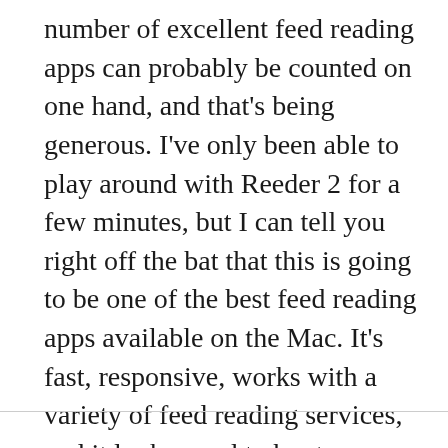number of excellent feed reading apps can probably be counted on one hand, and that's being generous. I've only been able to play around with Reeder 2 for a few minutes, but I can tell you right off the bat that this is going to be one of the best feed reading apps available on the Mac. It's fast, responsive, works with a variety of feed reading services, and it looks good to boot.